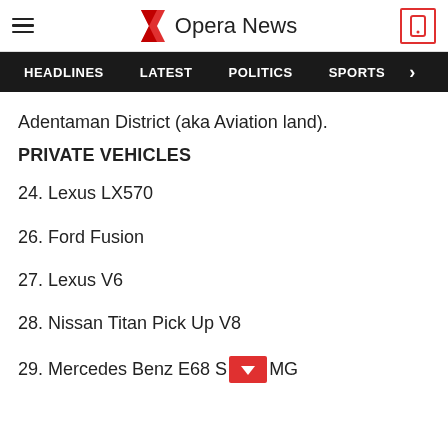Opera News
HEADLINES  LATEST  POLITICS  SPORTS
Adentaman District (aka Aviation land).
PRIVATE VEHICLES
24. Lexus LX570
26. Ford Fusion
27. Lexus V6
28. Nissan Titan Pick Up V8
29. Mercedes Benz E68 S[dropdown]MG